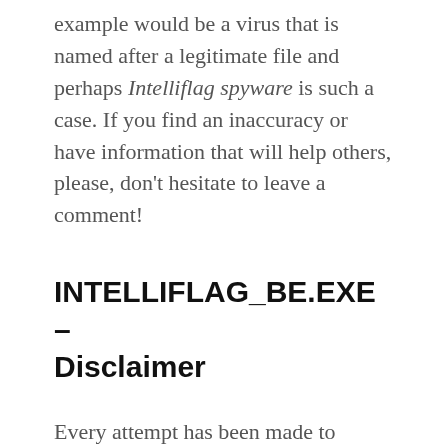example would be a virus that is named after a legitimate file and perhaps Intelliflag spyware is such a case. If you find an inaccuracy or have information that will help others, please, don't hesitate to leave a comment!
INTELLIFLAG_BE.EXE – Disclaimer
Every attempt has been made to provide you with the correct information for intelliflag_be.exe or INTELLIFLAG SPYWARE. Many spyware / malware programs use filenames of usual, non-